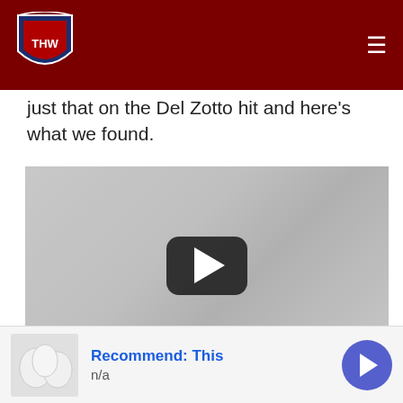THW (The Hockey Writers) logo and navigation
just that on the Del Zotto hit and here's what we found.
[Figure (screenshot): YouTube video player thumbnail showing a play button on a gray background]
Not only was it charge, but like his teammate Del Zotto went airborne while making the hit on Bortuzzo. Leaving his feet,
Recommend: This
n/a